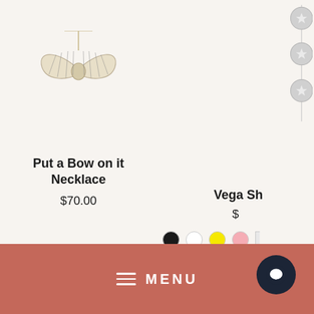[Figure (photo): Bow-shaped necklace pendant with striped gold/silver texture on chain]
Put a Bow on it Necklace
$70.00
[Figure (photo): Star charm chain necklace with circular star pendants, partially visible on right side]
Vega Sh
$
[Figure (other): Color swatches: black, white, yellow, pink, partial white/grey]
MENU
[Figure (other): Chat bubble icon button]